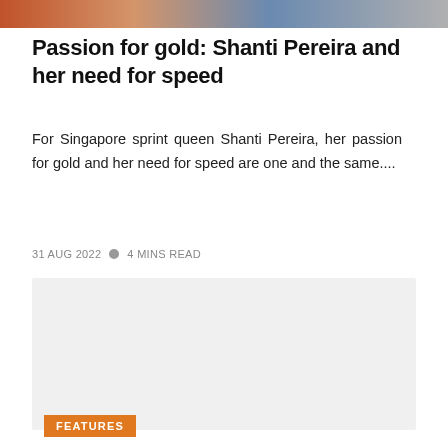[Figure (photo): Top image strip showing partial photos of people/athletes in a banner across the top of the page]
Passion for gold: Shanti Pereira and her need for speed
For Singapore sprint queen Shanti Pereira, her passion for gold and her need for speed are one and the same....
31 AUG 2022  •  4 MINS READ
[Figure (photo): Large light gray image placeholder box]
FEATURES